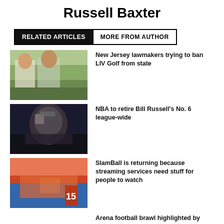Russell Baxter
RELATED ARTICLES | MORE FROM AUTHOR
New Jersey lawmakers trying to ban LIV Golf from state
NBA to retire Bill Russell's No. 6 league-wide
SlamBall is returning because streaming services need stuff for people to watch
Arena football brawl highlighted by steel chair-wielding fan (VIDEO)
World Cup 2026: Will past train meltdowns keep MetLife Stadium from hosting final?